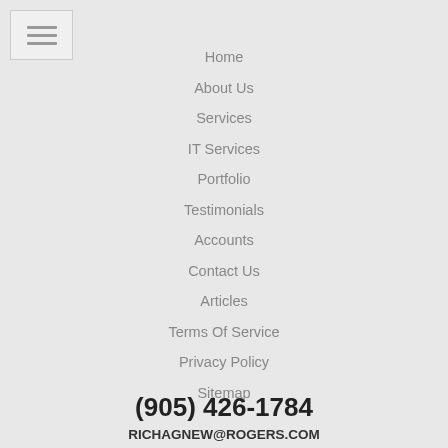[Figure (other): Hamburger menu icon with three horizontal lines]
Home
About Us
Services
IT Services
Portfolio
Testimonials
Accounts
Contact Us
Articles
Terms Of Service
Privacy Policy
Sitemap
(905) 426-1784
RICHAGNEW@ROGERS.COM